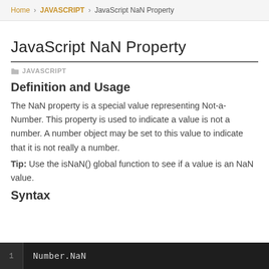Home > JAVASCRIPT > JavaScript NaN Property
JavaScript NaN Property
JAVASCRIPT
Definition and Usage
The NaN property is a special value representing Not-a-Number. This property is used to indicate a value is not a number. A number object may be set to this value to indicate that it is not really a number.
Tip: Use the isNaN() global function to see if a value is an NaN value.
Syntax
Number.NaN